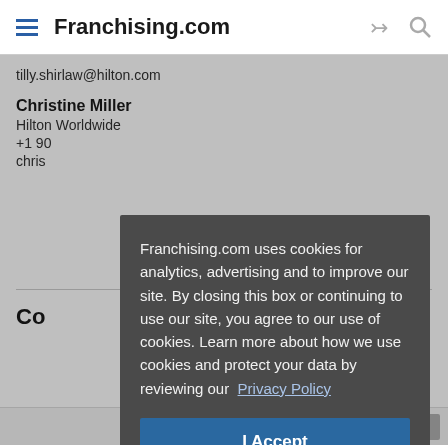Franchising.com
tilly.shirlaw@hilton.com
Christine Miller
Hilton Worldwide
+1 90
chris
Franchising.com uses cookies for analytics, advertising and to improve our site. By closing this box or continuing to use our site, you agree to our use of cookies. Learn more about how we use cookies and protect your data by reviewing our Privacy Policy
I Accept
Co